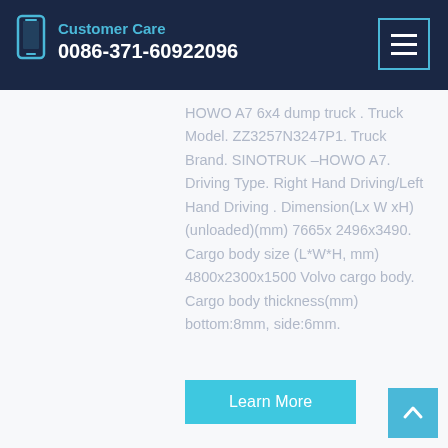Customer Care 0086-371-60922096
HOWO A7 6x4 dump truck . Truck Model. ZZ3257N3247P1. Truck Brand. SINOTRUK –HOWO A7. Driving Type. Right Hand Driving/Left Hand Driving . Dimension(Lx W xH) (unloaded)(mm) 7665x 2496x3490. Cargo body size (L*W*H, mm) 4800x2300x1500 Volvo cargo body. Cargo body thickness(mm) bottom:8mm, side:6mm.
Learn More